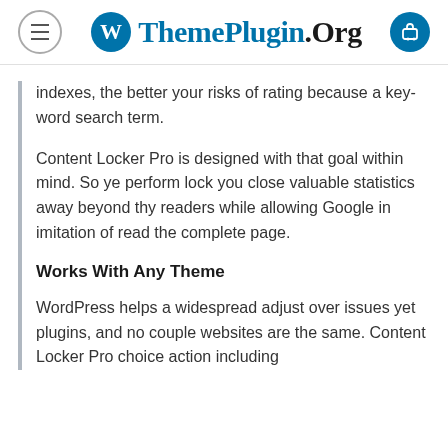ThemePlugin.Org
indexes, the better your risks of rating because a key-word search term.
Content Locker Pro is designed with that goal within mind. So ye perform lock you close valuable statistics away beyond thy readers while allowing Google in imitation of read the complete page.
Works With Any Theme
WordPress helps a widespread adjust over issues yet plugins, and no couple websites are the same. Content Locker Pro choice action including